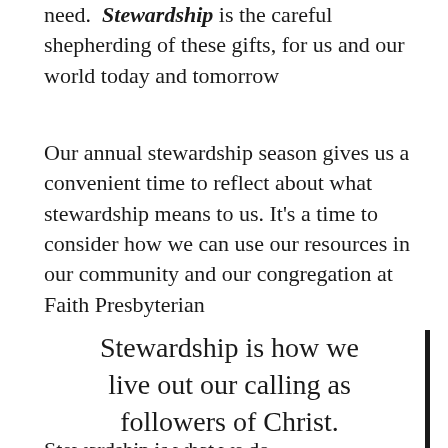need. Stewardship is the careful shepherding of these gifts, for us and our world today and tomorrow
Our annual stewardship season gives us a convenient time to reflect about what stewardship means to us. It’s a time to consider how we can use our resources in our community and our congregation at Faith Presbyterian
Stewardship is how we live out our calling as followers of Christ.
Stewardship is what we do